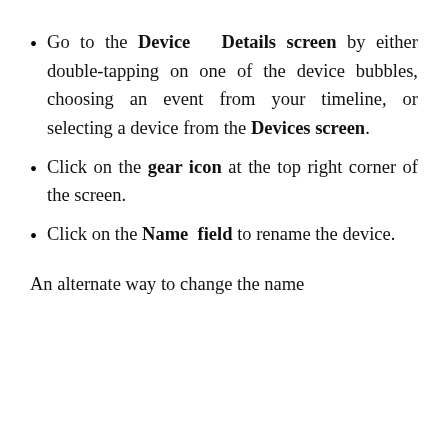Go to the Device Details screen by either double-tapping on one of the device bubbles, choosing an event from your timeline, or selecting a device from the Devices screen.
Click on the gear icon at the top right corner of the screen.
Click on the Name field to rename the device.
An alternate way to change the name